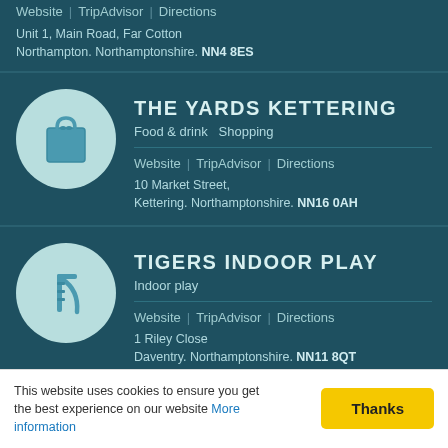Website | TripAdvisor | Directions
Unit 1, Main Road, Far Cotton
Northampton. Northamptonshire. NN4 8ES
THE YARDS KETTERING
Food & drink  Shopping
Website | TripAdvisor | Directions
10 Market Street,
Kettering. Northamptonshire. NN16 0AH
TIGERS INDOOR PLAY
Indoor play
Website | TripAdvisor | Directions
1 Riley Close
Daventry. Northamptonshire. NN11 8QT
TOWCESTER MUSEUM
Museum
This website uses cookies to ensure you get the best experience on our website More information